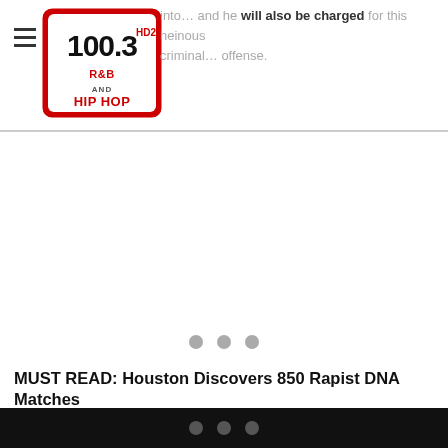100.3 HD2 R&B and Hip Hop
into … and he will also be charged for this heinous … criminal … offense.
[Figure (other): Loading/ad placeholder with three grey dots and a horizontal divider line]
MUST READ: Houston Discovers 850 Rapist DNA Matches
[Figure (other): Bottom black navigation bar with three grey dots]